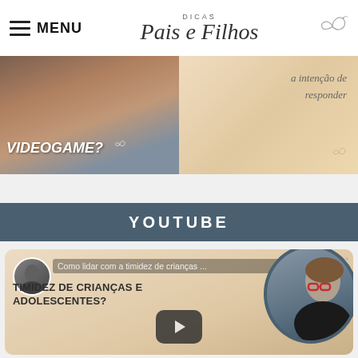MENU | DICAS Pais e Filhos
[Figure (screenshot): Two thumbnail images side by side: left shows 'VIDEOGAME?' text over blurred background; right shows cursive text 'a intenção de responder' on warm beige background]
YOUTUBE
[Figure (screenshot): YouTube video thumbnail for 'Como lidar com a timidez de crianças ... TIMIDEZ DE CRIANÇAS E ADOLESCENTES?' with play button and presenter photo in circle]